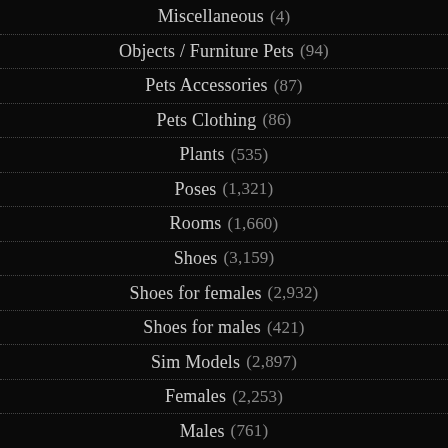Miscellaneous (4)
Objects / Furniture Pets (94)
Pets Accessories (87)
Pets Clothing (86)
Plants (535)
Poses (1,321)
Rooms (1,660)
Shoes (3,159)
Shoes for females (2,932)
Shoes for males (421)
Sim Models (2,897)
Females (2,253)
Males (761)